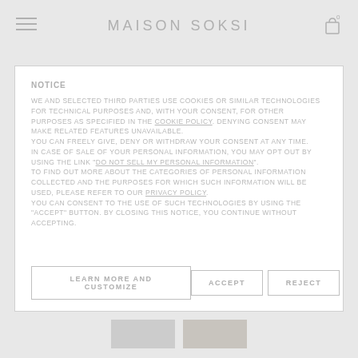MAISON SOKSI
NOTICE
WE AND SELECTED THIRD PARTIES USE COOKIES OR SIMILAR TECHNOLOGIES FOR TECHNICAL PURPOSES AND, WITH YOUR CONSENT, FOR OTHER PURPOSES AS SPECIFIED IN THE COOKIE POLICY. DENYING CONSENT MAY MAKE RELATED FEATURES UNAVAILABLE.
YOU CAN FREELY GIVE, DENY OR WITHDRAW YOUR CONSENT AT ANY TIME.
IN CASE OF SALE OF YOUR PERSONAL INFORMATION, YOU MAY OPT OUT BY USING THE LINK "DO NOT SELL MY PERSONAL INFORMATION".
TO FIND OUT MORE ABOUT THE CATEGORIES OF PERSONAL INFORMATION COLLECTED AND THE PURPOSES FOR WHICH SUCH INFORMATION WILL BE USED, PLEASE REFER TO OUR PRIVACY POLICY.
YOU CAN CONSENT TO THE USE OF SUCH TECHNOLOGIES BY USING THE "ACCEPT" BUTTON. BY CLOSING THIS NOTICE, YOU CONTINUE WITHOUT ACCEPTING.
LEARN MORE AND CUSTOMIZE | ACCEPT | REJECT